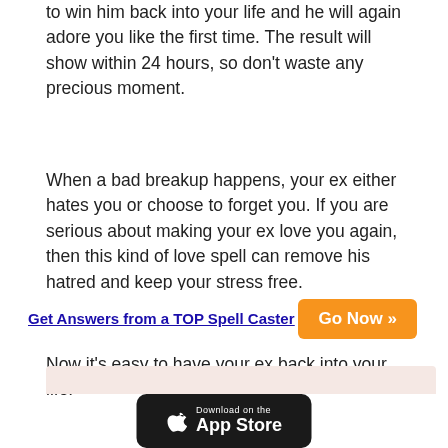to win him back into your life and he will again adore you like the first time. The result will show within 24 hours, so don't waste any precious moment.
When a bad breakup happens, your ex either hates you or choose to forget you. If you are serious about making your ex love you again, then this kind of love spell can remove his hatred and keep your stress free.
Now it's easy to have your ex back into your life!
[Figure (other): Pink/rose colored box at bottom of page, partially visible]
Get Answers from a TOP Spell Caster   Go Now »
[Figure (other): Download on the App Store button, black rounded rectangle with Apple logo]